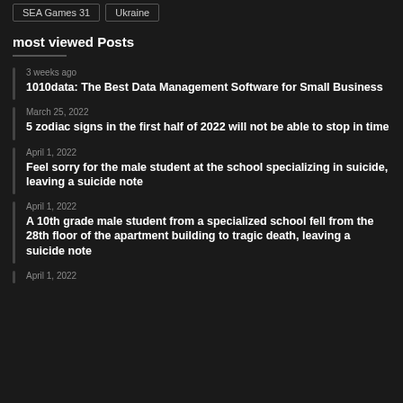SEA Games 31
Ukraine
most viewed Posts
3 weeks ago
1010data: The Best Data Management Software for Small Business
March 25, 2022
5 zodiac signs in the first half of 2022 will not be able to stop in time
April 1, 2022
Feel sorry for the male student at the school specializing in suicide, leaving a suicide note
April 1, 2022
A 10th grade male student from a specialized school fell from the 28th floor of the apartment building to tragic death, leaving a suicide note
April 1, 2022